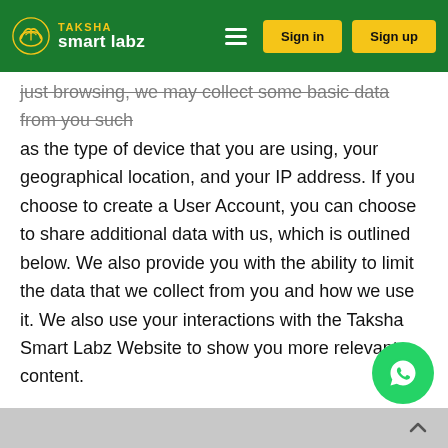Taksha Smart Labz — Sign in | Sign up
just browsing, we may collect some basic data from you such as the type of device that you are using, your geographical location, and your IP address. If you choose to create a User Account, you can choose to share additional data with us, which is outlined below. We also provide you with the ability to limit the data that we collect from you and how we use it. We also use your interactions with the Taksha Smart Labz Website to show you more relevant content.
Our Services are designed to help students and their families. All information we collect is used to advance our mission to assist students academically and to promote these important Services.
If you have any questions about our privacy policy, how we collect data from you, how we use your data, or how you can